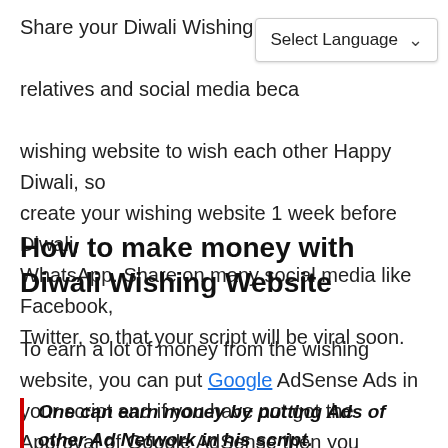Share your Diwali Wishing Website relatives and social media because wishing website to wish each other Happy Diwali, so create your wishing website 1 week before Diwali, WhatsApp. Share on many social media like Facebook, Twitter, so that your script will be viral soon.
[Figure (screenshot): Select Language dropdown widget overlapping the text]
How to make money with Diwali Wishing Website
To earn a lot of money from the wishing website, you can put Google AdSense Ads in your script and if you have not got the Approval of Google AdSense then you
One can earn money by putting Ads of other Ad Network in his script.